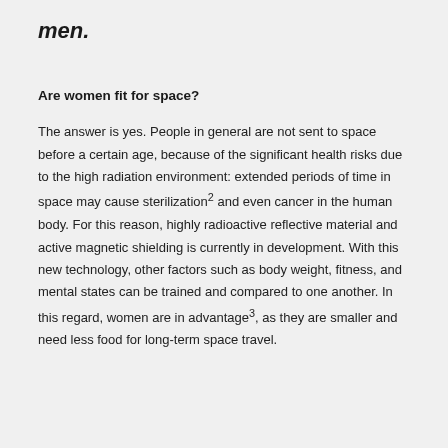men.
Are women fit for space?
The answer is yes. People in general are not sent to space before a certain age, because of the significant health risks due to the high radiation environment: extended periods of time in space may cause sterilization² and even cancer in the human body. For this reason, highly radioactive reflective material and active magnetic shielding is currently in development. With this new technology, other factors such as body weight, fitness, and mental states can be trained and compared to one another. In this regard, women are in advantage³, as they are smaller and need less food for long-term space travel.